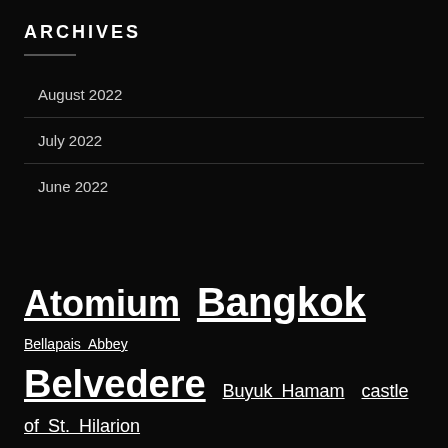ARCHIVES
August 2022
July 2022
June 2022
Atomium Bangkok Bellapais Abbey Belvedere Buyuk Hamam castle of St. Hilarion Chrysaliniotiss Famagusta Great Wall Hong Kong Kryal Castle Kamini